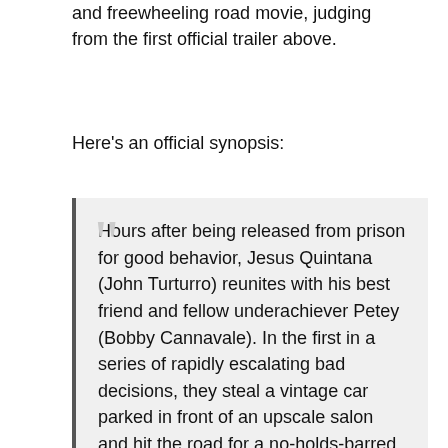and freewheeling road movie, judging from the first official trailer above.
Here's an official synopsis:
Hours after being released from prison for good behavior, Jesus Quintana (John Turturro) reunites with his best friend and fellow underachiever Petey (Bobby Cannavale). In the first in a series of rapidly escalating bad decisions, they steal a vintage car parked in front of an upscale salon and hit the road for a no-holds-barred joyride — until the car's gun-toting owner (Jon Hamm) catches up with them,